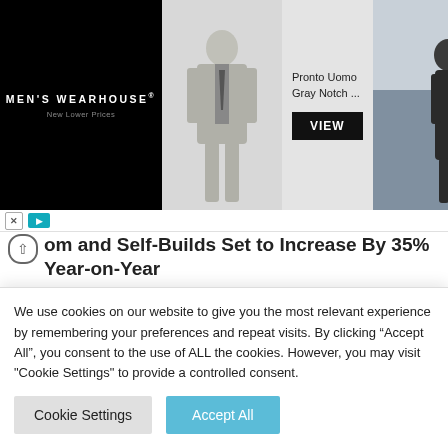[Figure (screenshot): Men's Wearhouse advertisement banner showing a gray suit product (Pronto Uomo Gray Notch ...) with a VIEW button, a suit model photo on left center, and a couple in formal wear on the right. Black background on left panel.]
om and Self-Builds Set to Increase By 35% Year-on-Year
As of April 2019, only 8% of homes are custom or self-build, but the government are determined to change this. They have recently introduced a number of incentives as a means of diversifying the market and encouraging
We use cookies on our website to give you the most relevant experience by remembering your preferences and repeat visits. By clicking “Accept All”, you consent to the use of ALL the cookies. However, you may visit "Cookie Settings" to provide a controlled consent.